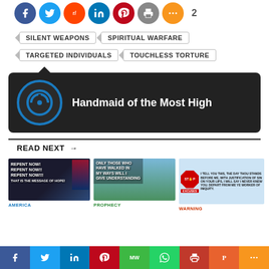[Figure (infographic): Social share icons row: Facebook, Twitter, Reddit, LinkedIn, Pinterest, Print, More — with share count of 2]
SILENT WEAPONS
SPIRITUAL WARFARE
TARGETED INDIVIDUALS
TOUCHLESS TORTURE
[Figure (infographic): Author card with power icon avatar and name: Handmaid of the Most High]
READ NEXT →
[Figure (photo): Thumbnail: REPENT NOW! REPENT NOW!! REPENT NOW!!! THAT IS THE MESSAGE OF HOPE! with American flag]
[Figure (photo): Thumbnail: ONLY THOSE WHO HAVE WALKED IN MY WAYS WILL I GIVE UNDERSTANDING with path through grass]
[Figure (photo): Thumbnail: Stop Excuses sign with scripture quote]
AMERICA
PROPHECY
WARNING
[Figure (infographic): Bottom social share bar: Facebook, Twitter, LinkedIn, Pinterest, MeWe, WhatsApp, Print, Parler, More]